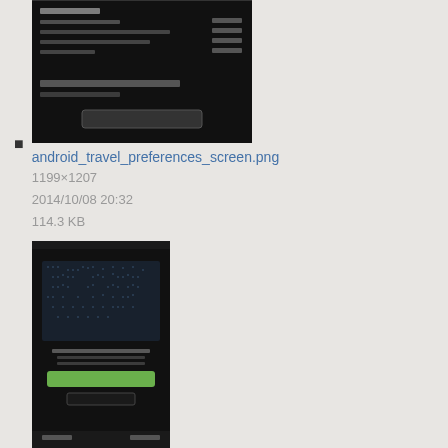[Figure (screenshot): Android travel preferences screen - dark background with list items and a button]
android_travel_preferences_screen.png
1199×1207
2014/10/08 20:32
114.3 KB
[Figure (screenshot): Android welcome screen - dark background with world map and green button]
android_welcome_screen.png
1200×1920
2014/10/15 17:30
201.8 KB
[Figure (screenshot): Android about screen with Pulse app logo and version info]
androidabout.jpg